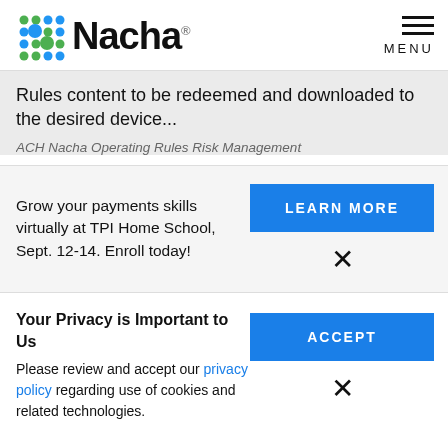Nacha — MENU
Rules content to be redeemed and downloaded to the desired device...
ACH Nacha Operating Rules Risk Management
Grow your payments skills virtually at TPI Home School, Sept. 12-14. Enroll today!
LEARN MORE
Your Privacy is Important to Us
Please review and accept our privacy policy regarding use of cookies and related technologies.
ACCEPT